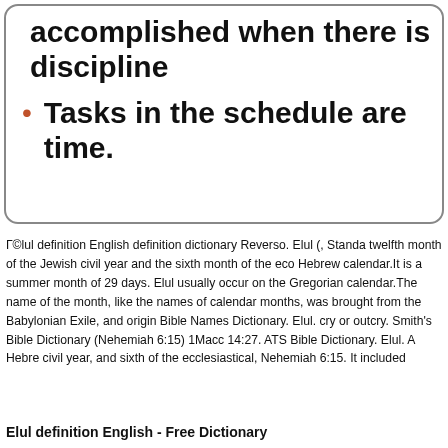accomplished when there is discipline
Tasks in the schedule are time.
Г©lul definition English definition dictionary Reverso. Elul (, Standa twelfth month of the Jewish civil year and the sixth month of the eco Hebrew calendar.It is a summer month of 29 days. Elul usually occur on the Gregorian calendar.The name of the month, like the names of calendar months, was brought from the Babylonian Exile, and origin Bible Names Dictionary. Elul. cry or outcry. Smith's Bible Dictionary (Nehemiah 6:15) 1Macc 14:27. ATS Bible Dictionary. Elul. A Hebre civil year, and sixth of the ecclesiastical, Nehemiah 6:15. It included
Elul definition English - Free Dictionary